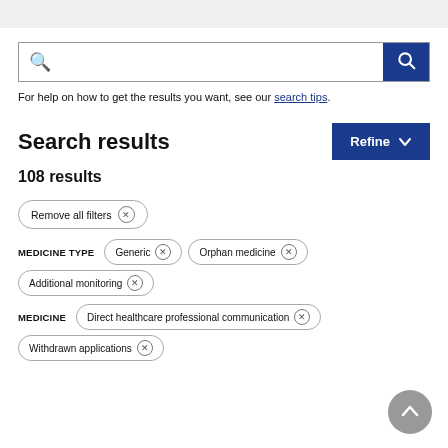[Figure (screenshot): Search input bar with magnifying glass icon on left and dark blue search button on right]
For help on how to get the results you want, see our search tips.
Search results
108 results
Remove all filters ×
MEDICINE TYPE   Generic ×   Orphan medicine ×
Additional monitoring ×
MEDICINE   Direct healthcare professional communication ×
Withdrawn applications ×